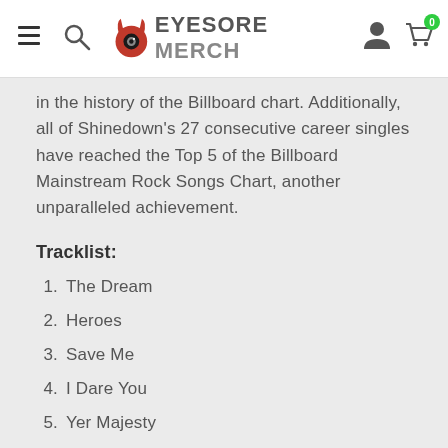Eyesore Merch — navigation bar with hamburger menu, search, logo, account and cart icons
in the history of the Billboard chart. Additionally, all of Shinedown's 27 consecutive career singles have reached the Top 5 of the Billboard Mainstream Rock Songs Chart, another unparalleled achievement.
Tracklist:
1.  The Dream
2.  Heroes
3.  Save Me
4.  I Dare You
5.  Yer Majesty
6.  Beyond The Sun